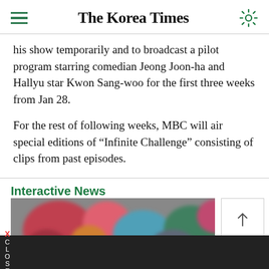The Korea Times
his show temporarily and to broadcast a pilot program starring comedian Jeong Joon-ha and Hallyu star Kwon Sang-woo for the first three weeks from Jan 28.
For the rest of following weeks, MBC will air special editions of "Infinite Challenge" consisting of clips from past episodes.
Interactive News
[Figure (photo): Blurred photograph of people in colorful outfits or crowd scene]
X CLOSE